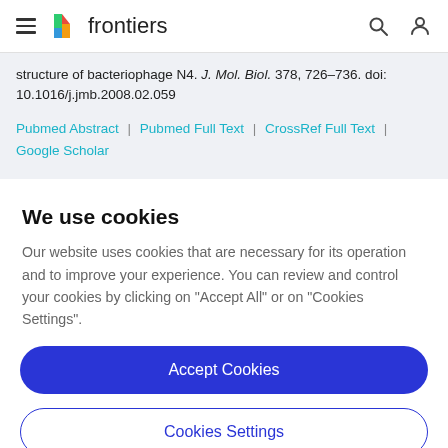frontiers
structure of bacteriophage N4. J. Mol. Biol. 378, 726–736. doi: 10.1016/j.jmb.2008.02.059
Pubmed Abstract | Pubmed Full Text | CrossRef Full Text | Google Scholar
We use cookies
Our website uses cookies that are necessary for its operation and to improve your experience. You can review and control your cookies by clicking on "Accept All" or on "Cookies Settings".
Accept Cookies
Cookies Settings